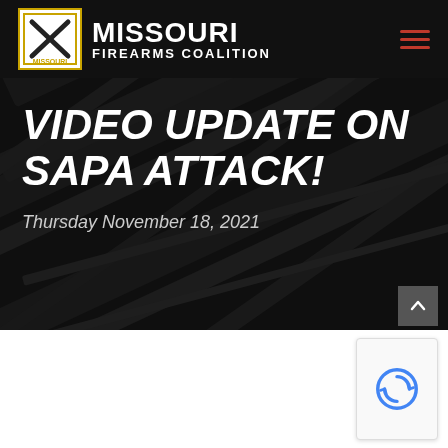Missouri Firearms Coalition
Video Update on SAPA Attack!
Thursday November 18, 2021
[Figure (logo): reCAPTCHA logo badge in bottom right corner]